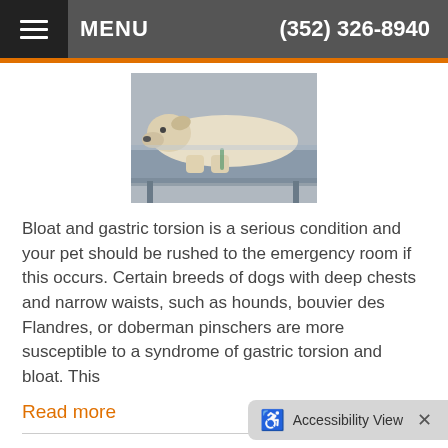MENU  (352) 326-8940
[Figure (photo): A light-colored dog lying on a veterinary exam table, appearing to be sedated or resting after a procedure.]
Bloat and gastric torsion is a serious condition and your pet should be rushed to the emergency room if this occurs. Certain breeds of dogs with deep chests and narrow waists, such as hounds, bouvier des Flandres, or doberman pinschers are more susceptible to a syndrome of gastric torsion and bloat. This
Read more
Gastric Dilation Volvulus (GDV)
Category: Pet Health, D…